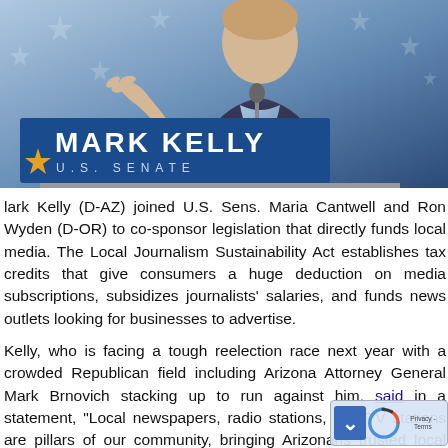[Figure (photo): Photo of a man in a suit speaking at a podium with a 'MARK KELLY U.S. SENATE' sign, against a blue star-patterned background.]
Mark Kelly (D-AZ) joined U.S. Sens. Maria Cantwell and Ron Wyden (D-OR) to co-sponsor legislation that directly funds local media. The Local Journalism Sustainability Act establishes tax credits that give consumers a huge deduction on media subscriptions, subsidizes journalists' salaries, and funds news outlets looking for businesses to advertise.
Kelly, who is facing a tough reelection race next year with a crowded Republican field including Arizona Attorney General Mark Brnovich stacking up to run against him, said in a statement, "Local newspapers, radio stations, and TV stations are pillars of our community, bringing Arizonans trusted local news, information about local community events and the latest on public health issues in their area.